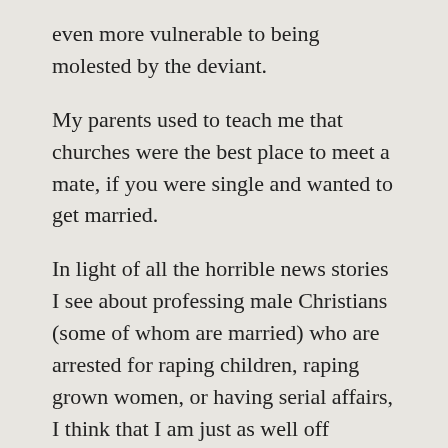even more vulnerable to being molested by the deviant.
My parents used to teach me that churches were the best place to meet a mate, if you were single and wanted to get married.
In light of all the horrible news stories I see about professing male Christians (some of whom are married) who are arrested for raping children, raping grown women, or having serial affairs, I think that I am just as well off dumping the “be equally yoked” rule and dating Non-Christian men.
There was a report that came out a few weeks ago that says that Christian ministry (clergy) is an